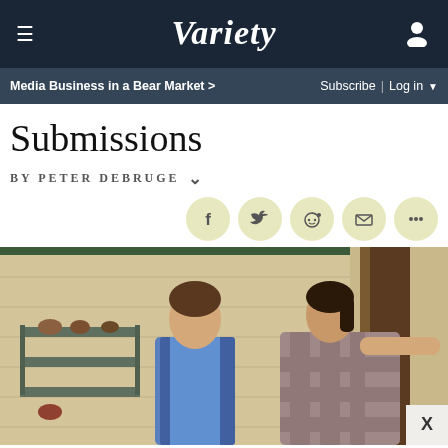VARIETY — Media Business in a Bear Market > | Subscribe | Log in
Submissions
By Peter Debruge
[Figure (photo): Two people standing outside a wooden structure; a young man in a plaid vest and a woman in a plaid shirt with her arm extended to a post]
X